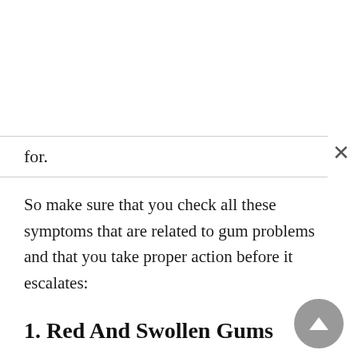for.
So make sure that you check all these symptoms that are related to gum problems and that you take proper action before it escalates:
1. Red And Swollen Gums
That is the first sign that you need to look for. Problems with the gums usually start at the gum line which can lead to it being swollen or red.